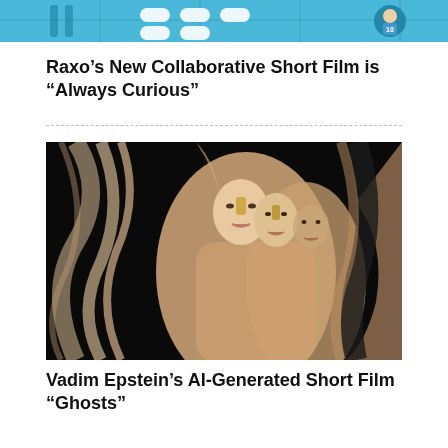[Figure (illustration): Colorful animated/illustrated banner image with blue background showing stylized figures, pills/capsules, and a cartoon character with the number 10]
Raxo’s New Collaborative Short Film is “Always Curious”
[Figure (photo): Surrealist art photograph showing multiple human faces merged into hands/body forms with black and white wave-like patterns on dark background]
Vadim Epstein’s AI-Generated Short Film “Ghosts”